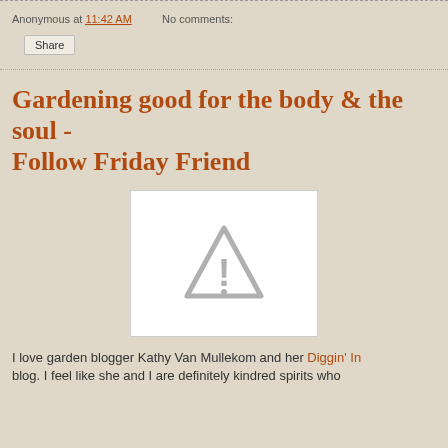Anonymous at 11:42 AM   No comments:
Share
Gardening good for the body & the soul - Follow Friday Friend
[Figure (other): Broken/missing image placeholder showing a warning triangle with exclamation mark]
I love garden blogger Kathy Van Mullekom and her Diggin' In blog. I feel like she and I are definitely kindred spirits who